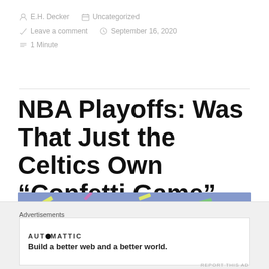E.H. Decker  Uncategorized  Leave a comment  September 16, 2020  1 Minute
NBA Playoffs: Was That Just the Celtics Own “Confetti Game”
[Figure (photo): Colorful confetti pieces falling against a blue/purple background]
Advertisements
AUTOMATTIC
Build a better web and a better world.